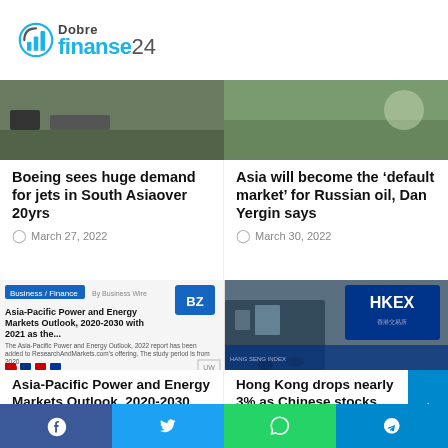[Figure (logo): Dobre Finanse 24 logo with bar chart icon in teal/blue]
[Figure (photo): Boeing jets image thumbnail - top left article]
[Figure (photo): Green/outdoor scene - top right article about Russian oil]
Boeing sees huge demand for jets in South Asiaover 20yrs
March 27, 2022
Asia will become the ‘default market’ for Russian oil, Dan Yergin says
March 30, 2022
[Figure (screenshot): Asia-Pacific Power and Energy Markets Outlook article screenshot from Benzinga]
[Figure (photo): HKEX Hong Kong Exchange building exterior with sign]
Asia-Pacific Power and Energy Markets Outlook, 2020-2030 with 2021 as the Base Year –
Hong Kong drops nearly 3% as Chinese stocks tumble; shares of JD Logistics, Russia’s Rusal